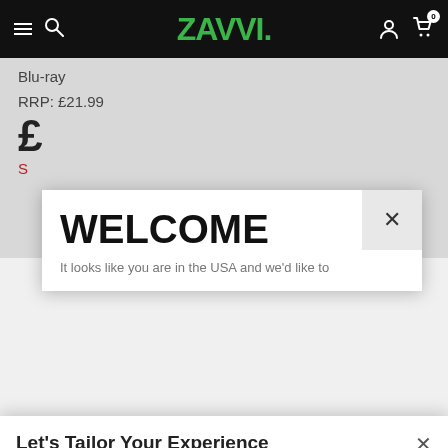[Figure (screenshot): Zavvi e-commerce website screenshot showing navigation bar with hamburger menu, search icon, Zavvi logo in green, user icon and cart icon. Below shows a product page with Blu-ray text, RRP: £21.99, and partial price. Two modal dialogs are overlaid: a 'WELCOME' modal and a 'Let's Tailor Your Experience' cookie consent modal with Set Preferences and That's OK buttons.]
Zavvi
Blu-ray
RRP: £21.99
WELCOME
Let's Tailor Your Experience
Our site uses cookies and other similar technologies so that we, and our partners, can improve operational performance of the site and give you a personalised shopping and advertising experience. To edit your preferences select "Set Preferences" where you can change these at any time. Find out more information here.